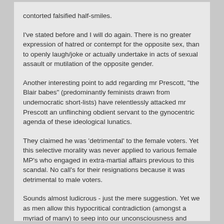contorted falsified half-smiles.
I've stated before and I will do again. There is no greater expression of hatred or contempt for the opposite sex, than to openly laugh/joke or actually undertake in acts of sexual assault or mutilation of the opposite gender.
Another interesting point to add regarding mr Prescott, "the Blair babes" (predominantly feminists drawn from undemocratic short-lists) have relentlessly attacked mr Prescott an unflinching obdient servant to the gynocentric agenda of these ideological lunatics.
They claimed he was 'detrimental' to the female voters. Yet this selective morality was never applied to various female MP's who engaged in extra-martial affairs previous to this scandal. No call's for their resignations because it was detrimental to male voters.
Sounds almost ludicrous - just the mere suggestion. Yet we as men allow this hypocritical contradiction (amongst a myriad of many) to seep into our unconsciousness and formulate our own slavery!